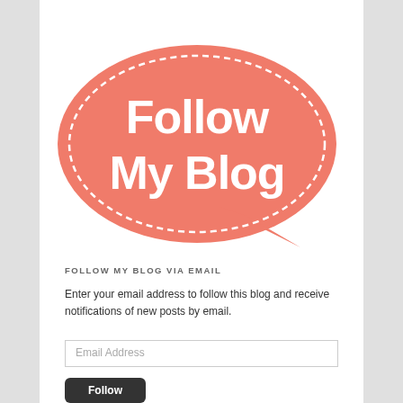[Figure (illustration): A coral/salmon-colored speech bubble with dashed white border outline, containing the text 'Follow My Blog' in white handwritten-style font. The speech bubble has a tail pointing to the bottom right.]
FOLLOW MY BLOG VIA EMAIL
Enter your email address to follow this blog and receive notifications of new posts by email.
Email Address
Follow